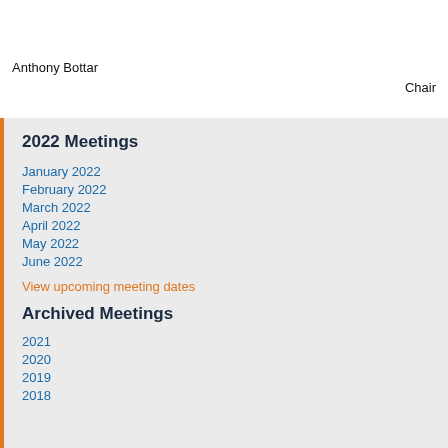Anthony Bottar
Chair
2022 Meetings
January 2022
February 2022
March 2022
April 2022
May 2022
June 2022
View upcoming meeting dates
Archived Meetings
2021
2020
2019
2018